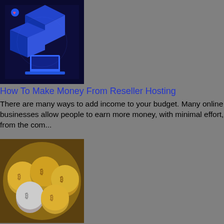[Figure (illustration): Dark blue isometric illustration of server/hosting infrastructure with a laptop]
How To Make Money From Reseller Hosting
There are many ways to add income to your budget. Many online businesses allow people to earn more money, with minimal effort, from the com...
[Figure (photo): Photo of gold and silver Bitcoin coins/cryptocurrency]
How Does Bitcoin Cloud Mining Work?
If you're looking for the best way to get started in the world of cryptocurrency but aren't quite sure on how to go about it, it could be w...
[Figure (screenshot): Screenshot of a website hosting interface with 'WEBSITE HOSTING' text visible]
10 Tips For Changing Website Host Companies
Cookie-cutter website builders made it easy and inexpensive for the novice to set-up their own websites. As the number of entrepreneurs